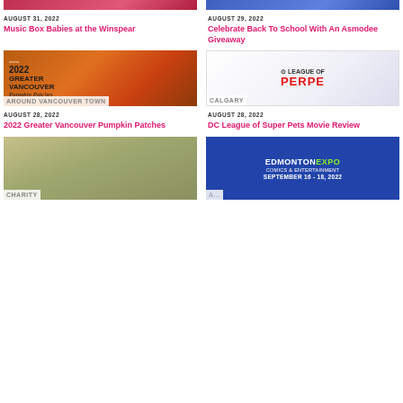[Figure (photo): Partial top image - pink/red background (Music Box Babies)]
[Figure (photo): Partial top image - blue background (Asmodee Giveaway)]
AUGUST 31, 2022
Music Box Babies at the Winspear
AUGUST 29, 2022
Celebrate Back To School With An Asmodee Giveaway
[Figure (photo): 2022 Greater Vancouver Pumpkin Patches promotional image with pumpkins]
[Figure (photo): DC League of Super Pets movie logo on white background]
AROUND VANCOUVER TOWN
CALGARY
AUGUST 28, 2022
2022 Greater Vancouver Pumpkin Patches
AUGUST 28, 2022
DC League of Super Pets Movie Review
[Figure (photo): Child at cemetery grave with autumn leaves]
[Figure (photo): Edmonton Expo Comics & Entertainment September 16-18, 2022 blue promotional banner]
CHARITY
AUGUST...